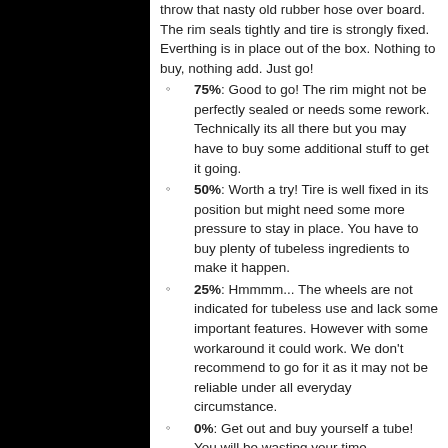throw that nasty old rubber hose over board. The rim seals tightly and tire is strongly fixed. Everthing is in place out of the box. Nothing to buy, nothing add. Just go!
75%: Good to go! The rim might not be perfectly sealed or needs some rework. Technically its all there but you may have to buy some additional stuff to get it going.
50%: Worth a try! Tire is well fixed in its position but might need some more pressure to stay in place. You have to buy plenty of tubeless ingredients to make it happen.
25%: Hmmmm... The wheels are not indicated for tubeless use and lack some important features. However with some workaround it could work. We don't recommend to go for it as it may not be reliable under all everyday circumstance.
0%: Get out and buy yourself a tube! You will be wasting your time.